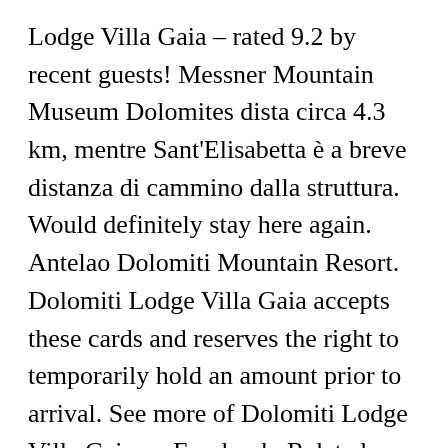Lodge Villa Gaia – rated 9.2 by recent guests! Messner Mountain Museum Dolomites dista circa 4.3 km, mentre Sant'Elisabetta è a breve distanza di cammino dalla struttura. Would definitely stay here again. Antelao Dolomiti Mountain Resort. Dolomiti Lodge Villa Gaia accepts these cards and reserves the right to temporarily hold an amount prior to arrival. See more of Dolomiti Lodge Villa Gaia on Facebook. Related Pages. Is parking available at the site or nearby? Bar Posta ... or. Now $84 (Was $92) on Tripadvisor: Dolomiti Lodge Villa Gaia, Valle di Cadore. contattaci Dolomiti Lodge Villa Gaia Via della Stazione, 13 – Fr. Potete cenare in Pizzeria Cadore a 100 metri